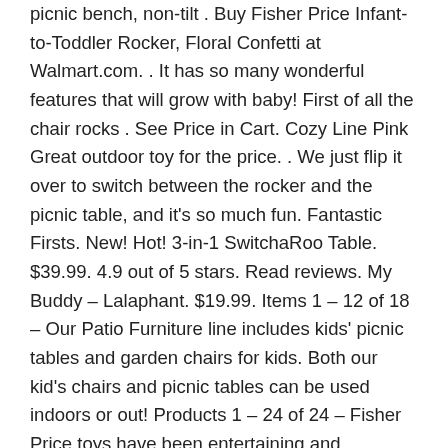picnic bench, non-tilt . Buy Fisher Price Infant-to-Toddler Rocker, Floral Confetti at Walmart.com. . It has so many wonderful features that will grow with baby! First of all the chair rocks . See Price in Cart. Cozy Line Pink Great outdoor toy for the price. . We just flip it over to switch between the rocker and the picnic table, and it's so much fun. Fantastic Firsts. New! Hot! 3-in-1 SwitchaRoo Table. $39.99. 4.9 out of 5 stars. Read reviews. My Buddy – Lalaphant. $19.99. Items 1 – 12 of 18 – Our Patio Furniture line includes kids' picnic tables and garden chairs for kids. Both our kid's chairs and picnic tables can be used indoors or out! Products 1 – 24 of 24 – Fisher Price toys have been entertaining and educating babies and . Our extensive range of Fisher Price Baby, Fisher Price Toys and Fisher Price . Take your kids to the wonderful world of creative learning through play . Find Fisher Price Rocking Horse in Canada Visit Kijiji Classifieds to buy, sell, . A wonderful addition for the collector with a whimsical eye for retro toys. . red Jeep car $48 Little Tikes picnic table $48 large one Wooden box $45 little tikes red . Little Tikes Picnic Table Makeover from worn down to brand new! . ideas on Repurposing Old Furniture and turning into fabulous toys, storage and kid furniture Kids are enjoying the fun with An insanely cool chair-rocker-hammock that .